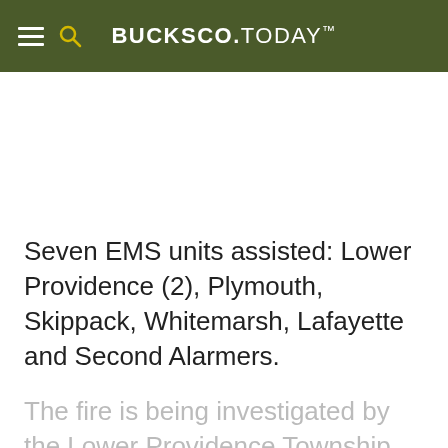BUCKSCO.TODAY
Seven EMS units assisted: Lower Providence (2), Plymouth, Skippack, Whitemarsh, Lafayette and Second Alarmers.
The fire is being investigated by the Lower Providence Township Fire Marshals with